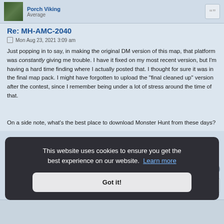Porch Viking
Average
Re: MH-AMC-2040
Mon Aug 23, 2021 3:09 am
Just popping in to say, in making the original DM version of this map, that platform was constantly giving me trouble. I have it fixed on my most recent version, but I'm having a hard time finding where I actually posted that. I thought for sure it was in the final map pack. I might have forgotten to upload the "final cleaned up" version after the contest, since I remember being under a lot of stress around the time of that.

On a side note, what's the best place to download Monster Hunt from these days?
This website uses cookies to ensure you get the best experience on our website. Learn more

Got it!